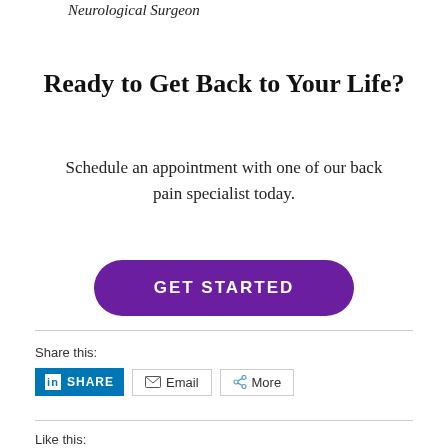Neurological Surgeon
Ready to Get Back to Your Life?
Schedule an appointment with one of our back pain specialist today.
GET STARTED
Share this:
Like this: